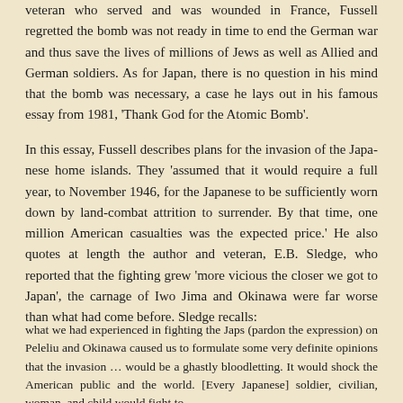veteran who served and was wounded in France, Fussell regretted the bomb was not ready in time to end the German war and thus save the lives of millions of Jews as well as Allied and German soldiers. As for Japan, there is no question in his mind that the bomb was necessary, a case he lays out in his famous essay from 1981, 'Thank God for the Atomic Bomb'.
In this essay, Fussell describes plans for the invasion of the Japa- nese home islands. They 'assumed that it would require a full year, to November 1946, for the Japanese to be sufficiently worn down by land-combat attrition to surrender. By that time, one million American casualties was the expected price.' He also quotes at length the author and veteran, E.B. Sledge, who reported that the fighting grew 'more vicious the closer we got to Japan', the carnage of Iwo Jima and Okinawa were far worse than what had come before. Sledge recalls:
what we had experienced in fighting the Japs (pardon the expression) on Peleliu and Okinawa caused us to formulate some very definite opinions that the invasion … would be a ghastly bloodletting. It would shock the American public and the world. [Every Japanese] soldier, civilian, woman, and child would fight to